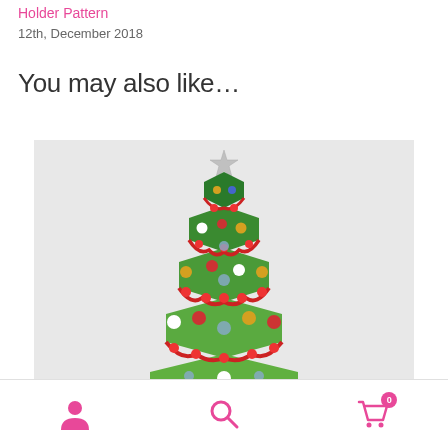Holder Pattern
12th, December 2018
You may also like…
[Figure (photo): A decorative beaded Christmas tree made of green beads arranged in tiered hexagonal layers, decorated with red bead garlands, colorful ball ornaments, and topped with a silver star.]
Navigation bar with user icon, search icon, and cart icon with badge showing 0